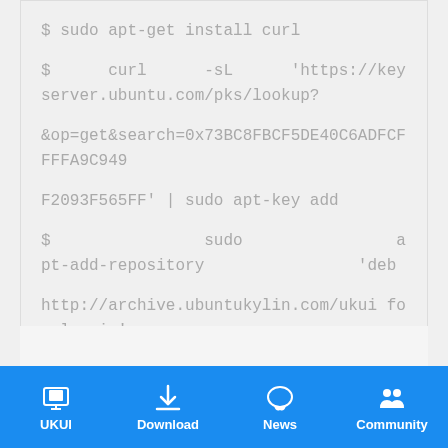$ sudo apt-get install curl

$ curl -sL 'https://keyserver.ubuntu.com/pks/lookup?&op=get&search=0x73BC8FBCF5DE40C6ADFCFFFFA9C949F2093F565FF' | sudo apt-key add

$ sudo apt-add-repository 'deb http://archive.ubuntukylin.com/ukui focal main'

$ sudo apt upgrade
UKUI  Download  News  Community